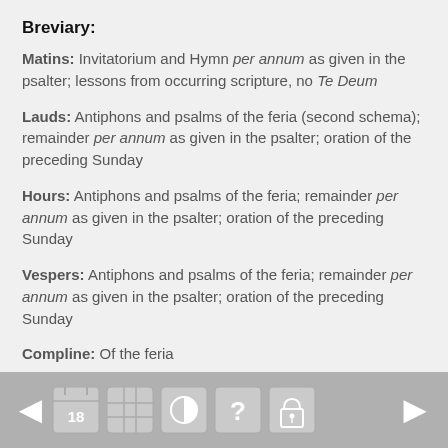Breviary:
Matins: Invitatorium and Hymn per annum as given in the psalter; lessons from occurring scripture, no Te Deum
Lauds: Antiphons and psalms of the feria (second schema); remainder per annum as given in the psalter; oration of the preceding Sunday
Hours: Antiphons and psalms of the feria; remainder per annum as given in the psalter; oration of the preceding Sunday
Vespers: Antiphons and psalms of the feria; remainder per annum as given in the psalter; oration of the preceding Sunday
Compline: Of the feria
[Figure (screenshot): Navigation toolbar with back arrow, calendar/date icon (18), grid icon, contrast icon, help icon, lock icon, and forward arrow.]